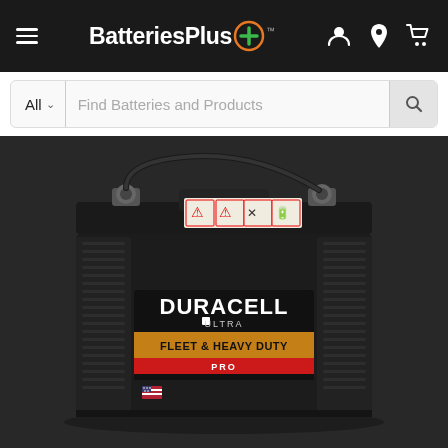BatteriesPlus+ (logo/navigation header)
All  |  Find Batteries and Products
[Figure (photo): Duracell Ultra Fleet & Heavy Duty Pro battery, large black rectangular battery with label showing DURACELL ULTRA FLEET & HEAVY DUTY PRO on a gold and red label, with battery terminals on top, on a dark background]